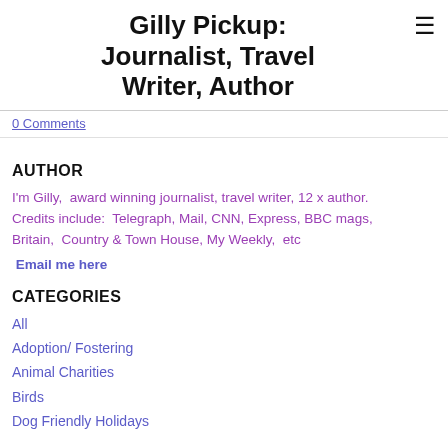Gilly Pickup: Journalist, Travel Writer, Author
0 Comments
AUTHOR
I'm Gilly,  award winning journalist, travel writer, 12 x author. Credits include:  Telegraph, Mail, CNN, Express, BBC mags, Britain,  Country & Town House, My Weekly,  etc
Email me here
CATEGORIES
All
Adoption/ Fostering
Animal Charities
Birds
Dog Friendly Holidays